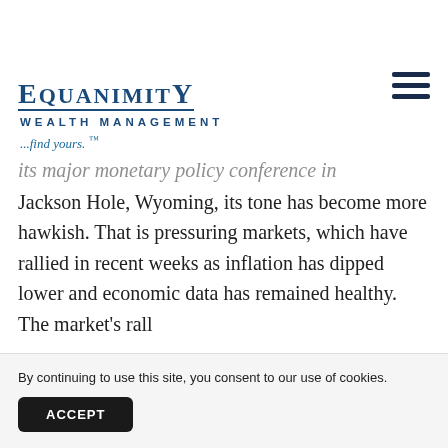[Figure (logo): Equanimity Wealth Management logo — landscape scene with mountains, sunset, trees, and water]
EQUANIMITY WEALTH MANAGEMENT ...find yours. ™
its major monetary policy conference in Jackson Hole, Wyoming, its tone has become more hawkish. That is pressuring markets, which have rallied in recent weeks as inflation has dipped lower and economic data has remained healthy. The market's rall
By continuing to use this site, you consent to our use of cookies.